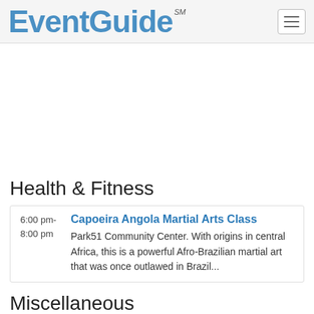EventGuide℠
[Figure (other): Advertisement / blank white area]
Health & Fitness
6:00 pm-8:00 pm  Capoeira Angola Martial Arts Class  Park51 Community Center. With origins in central Africa, this is a powerful Afro-Brazilian martial art that was once outlawed in Brazil...
Miscellaneous